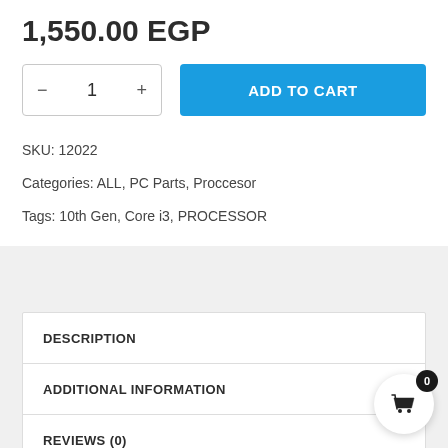1,550.00 EGP
1  ADD TO CART
SKU: 12022
Categories: ALL, PC Parts, Proccesor
Tags: 10th Gen, Core i3, PROCESSOR
DESCRIPTION
ADDITIONAL INFORMATION
REVIEWS (0)